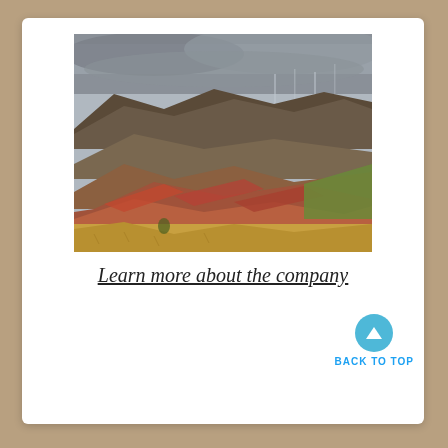[Figure (photo): Landscape photograph showing rolling red and brown hills with dry golden grasses in the foreground, dark mountain ridges in the middle distance, and a dramatic overcast stormy sky above.]
Learn more about the company
[Figure (infographic): Social sharing buttons: Twitter (blue), Pinterest (red), Facebook (blue), and a share count showing 0 SHARES with a back-to-top arrow button labeled BACK TO TOP.]